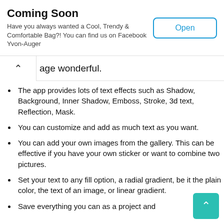[Figure (screenshot): App advertisement banner with title 'Coming Soon', subtitle text about Facebook Yvon-Auger, and an 'Open' button]
age wonderful.
The app provides lots of text effects such as Shadow, Background, Inner Shadow, Emboss, Stroke, 3d text, Reflection, Mask.
You can customize and add as much text as you want.
You can add your own images from the gallery. This can be effective if you have your own sticker or want to combine two pictures.
Set your text to any fill option, a radial gradient, be it the plain color, the text of an image, or linear gradient.
Save everything you can as a project and